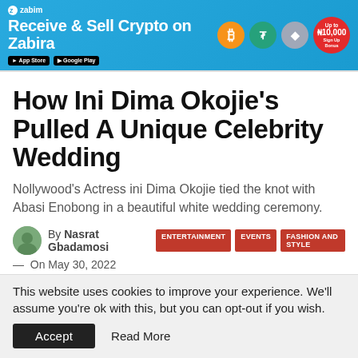[Figure (illustration): Zabira crypto advertisement banner: 'Receive & Sell Crypto on Zabira' with Bitcoin, Tether, and Ethereum coin icons, a red bonus badge showing 'Up to ₦10,000 Sign Up Bonus', and app store download badges.]
How Ini Dima Okojie's Pulled A Unique Celebrity Wedding
Nollywood's Actress ini Dima Okojie tied the knot with Abasi Enobong in a beautiful white wedding ceremony.
By Nasrat Gbadamosi
ENTERTAINMENT  EVENTS  FASHION AND STYLE
— On May 30, 2022
This website uses cookies to improve your experience. We'll assume you're ok with this, but you can opt-out if you wish.
Accept    Read More